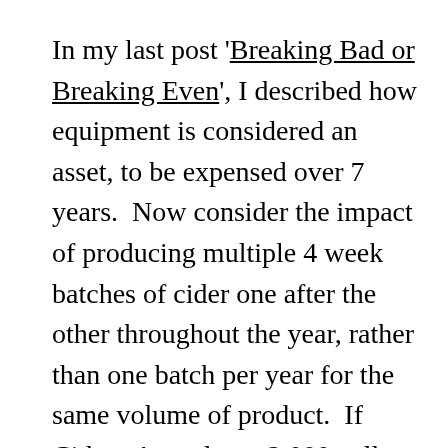In my last post 'Breaking Bad or Breaking Even', I described how equipment is considered an asset, to be expensed over 7 years.  Now consider the impact of producing multiple 4 week batches of cider one after the other throughout the year, rather than one batch per year for the same volume of product.  If Cidery A produces 2,000 gallons of  one 'cidrage' cider once per year, they might invest in two 2,000 gallon tanks, one of which will be full most of the year (the other is to pump into).  Cidery B produces 2,000 gallons of 4-week cider.  That means they can produce about 10-12 batches per year, so they only need to invest in two 200 gallon tanks.  Even though the cost of the 2,000 gallon tanks is less than 10 times the